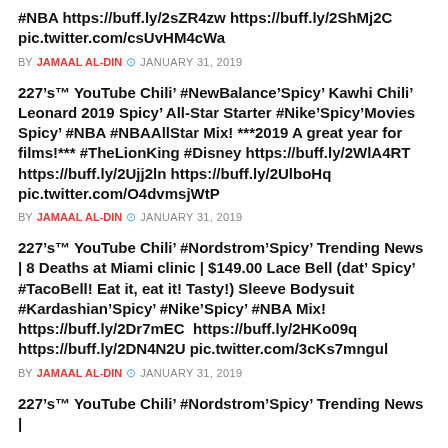#NBA https://buff.ly/2sZR4zw https://buff.ly/2ShMj2C pic.twitter.com/csUvHM4cWa
BY JAMAAL AL-DIN  JANUARY 31, 2019
227’s™ YouTube Chili’ #NewBalance’Spicy’ Kawhi Chili’ Leonard 2019 Spicy’ All-Star Starter #Nike’Spicy’Movies Spicy’ #NBA #NBAAllStar Mix! ***2019 A great year for films!*** #TheLionKing #Disney https://buff.ly/2WlA4RT https://buff.ly/2Ujj2ln https://buff.ly/2UlboHq pic.twitter.com/O4dvmsjWtP
BY JAMAAL AL-DIN  JANUARY 31, 2019
227’s™ YouTube Chili’ #Nordstrom’Spicy’ Trending News | 8 Deaths at Miami clinic | $149.00 Lace Bell (dat’ Spicy’ #TacoBell! Eat it, eat it! Tasty!) Sleeve Bodysuit #Kardashian’Spicy’ #Nike’Spicy’ #NBA Mix! https://buff.ly/2Dr7mEC  https://buff.ly/2HKo09q https://buff.ly/2DN4N2U pic.twitter.com/3cKs7mngul
BY JAMAAL AL-DIN  JANUARY 31, 2019
227’s™ YouTube Chili’ #Nordstrom’Spicy’ Trending News |